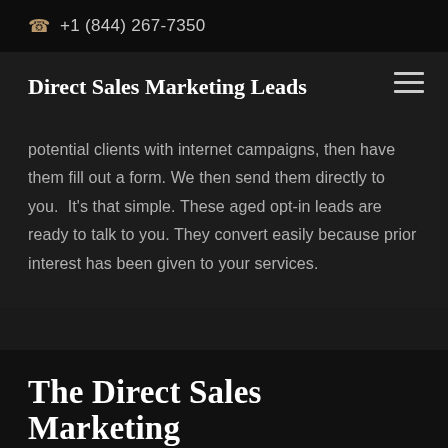+1 (844) 267-7350
Direct Sales Marketing Leads
potential clients with internet campaigns, then have them fill out a form. We then send them directly to you.  It's that simple. These aged opt-in leads are ready to talk to you. They convert easily because prior interest has been given to your services.
The Direct Sales Marketing